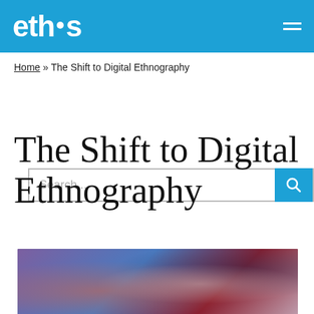ethos
Home » The Shift to Digital Ethnography
[Figure (other): Search bar with text input and blue search button]
The Shift to Digital Ethnography
[Figure (photo): Two people, one with red hair and one smaller (possibly a child), looking at something together, blurred background with purple and blue tones]